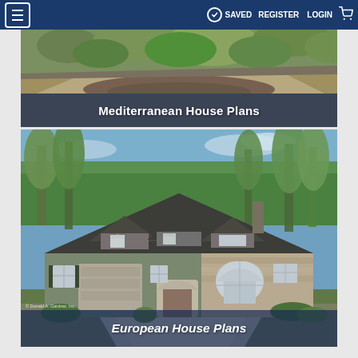≡  ✓ SAVED  REGISTER  LOGIN  🛒
[Figure (photo): Mediterranean House Plans - aerial/landscape photo showing a rooftop and garden area]
Mediterranean House Plans
[Figure (photo): European House Plans - photo of a large European-style house with dark gray roof, green siding, stone facade, arched windows, and attached garage, set among tall trees]
European House Plans
© Donald A. Gardner, Inc.